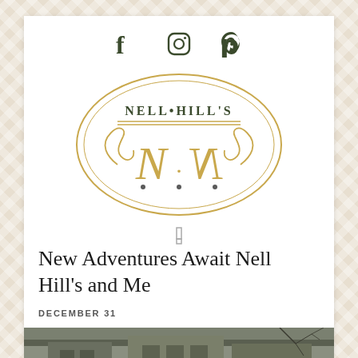[Figure (logo): Social media icons: Facebook, Instagram, Pinterest in dark olive green]
[Figure (logo): Nell Hill's oval logo with stylized NH monogram in gold/tan tones]
New Adventures Await Nell Hill's and Me
DECEMBER 31
[Figure (photo): Partial photo of a building exterior with bare winter trees]